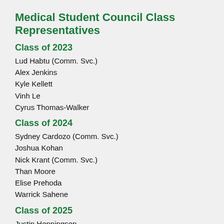Medical Student Council Class Representatives
Class of 2023
Lud Habtu (Comm. Svc.)
Alex Jenkins
Kyle Kellett
Vinh Le
Cyrus Thomas-Walker
Class of 2024
Sydney Cardozo (Comm. Svc.)
Joshua Kohan
Nick Krant (Comm. Svc.)
Than Moore
Elise Prehoda
Warrick Sahene
Class of 2025
Justin Henningsen
Elizabeth Kelley
Kadi Nguyen